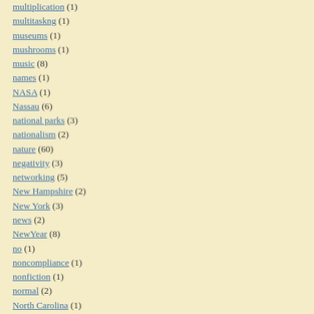multiplication (1)
multitaskng (1)
museums (1)
mushrooms (1)
music (8)
names (1)
NASA (1)
Nassau (6)
national parks (3)
nationalism (2)
nature (60)
negativity (3)
networking (5)
New Hampshire (2)
New York (3)
news (2)
NewYear (8)
no (1)
noncompliance (1)
nonfiction (1)
normal (2)
North Carolina (1)
Norway (1)
notes (1)
notetaking (2)
Nova Scotia (1)
numbers (4)
nutrition (1)
NVIV (34)